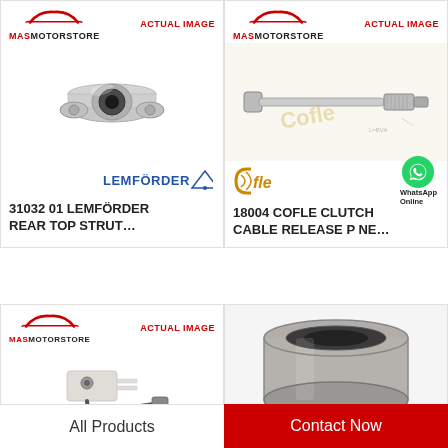[Figure (photo): MAS Motorstore product listing showing rear top strut mount with Lemförder branding. Product code: 31032 01 LEMFÖRDER REAR TOP STRUT...]
[Figure (photo): MAS Motorstore product listing showing Cofle clutch cable release with WhatsApp Online overlay. Product code: 18004 COFLE CLUTCH CABLE RELEASE P NE...]
[Figure (photo): MAS Motorstore product listing showing a sensor/electrical component, partially visible.]
[Figure (photo): Close-up photo of a rubber bushing/mount component, metallic cylindrical with rubber insert.]
All Products
Contact Now